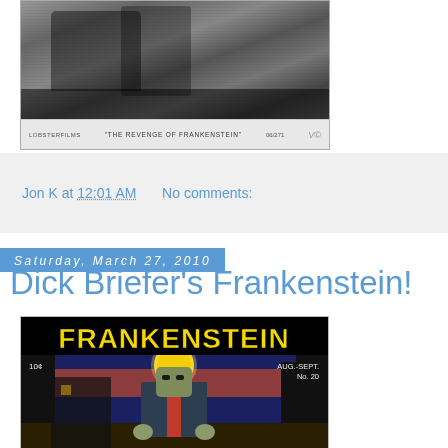[Figure (photo): Black and white film still from 'The Revenge of Frankenstein' with caption bar at bottom]
Jon K at 12:01 AM    No comments:
Saturday, March 27, 2010
Dick Briefer's Frankenstein!
[Figure (illustration): Comic book cover of Frankenstein No. 20, Aug.-Sept., 10c, showing Frankenstein monster in red shirt and dark coat against a moonlit night sky background, with large yellow 'FRANKENSTEIN' title text]